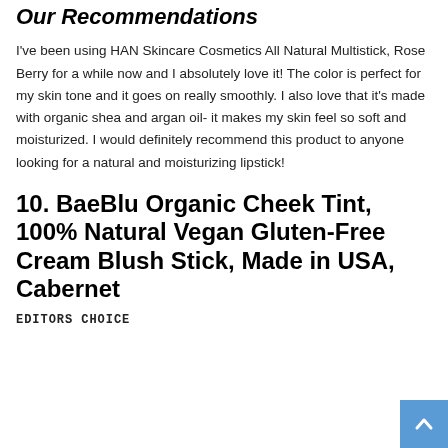Our Recommendations
I've been using HAN Skincare Cosmetics All Natural Multistick, Rose Berry for a while now and I absolutely love it! The color is perfect for my skin tone and it goes on really smoothly. I also love that it’s made with organic shea and argan oil- it makes my skin feel so soft and moisturized. I would definitely recommend this product to anyone looking for a natural and moisturizing lipstick!
10. BaeBlu Organic Cheek Tint, 100% Natural Vegan Gluten-Free Cream Blush Stick, Made in USA, Cabernet
EDITORS CHOICE